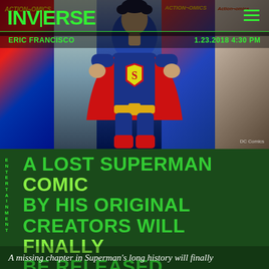[Figure (photo): Superman figure in blue and red costume posed heroically, with Action Comics book covers visible in the background collage]
INVERSE
ERIC FRANCISCO   1.23.2018 4:30 PM
A LOST SUPERMAN COMIC BY HIS ORIGINAL CREATORS WILL FINALLY BE RELEASED
ENTERTAINMENT
A missing chapter in Superman's long history will finally